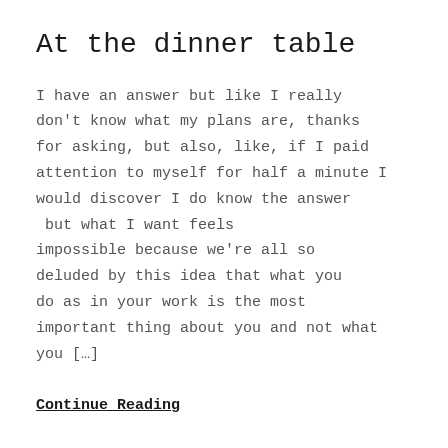At the dinner table
I have an answer but like I really don't know what my plans are, thanks for asking, but also, like, if I paid attention to myself for half a minute I would discover I do know the answer  but what I want feels impossible because we're all so deluded by this idea that what you do as in your work is the most important thing about you and not what you […]
Continue Reading